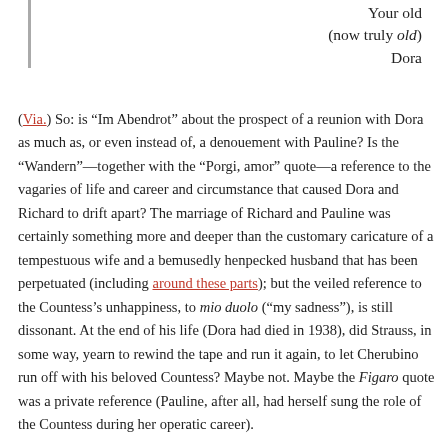never reply to
Your old
(now truly old)
Dora
(Via.) So: is “Im Abendrot” about the prospect of a reunion with Dora as much as, or even instead of, a denouement with Pauline? Is the “Wandern”—together with the “Porgi, amor” quote—a reference to the vagaries of life and career and circumstance that caused Dora and Richard to drift apart? The marriage of Richard and Pauline was certainly something more and deeper than the customary caricature of a tempestuous wife and a bemusedly henpecked husband that has been perpetuated (including around these parts); but the veiled reference to the Countess’s unhappiness, to mio duolo (“my sadness”), is still dissonant. At the end of his life (Dora had died in 1938), did Strauss, in some way, yearn to rewind the tape and run it again, to let Cherubino run off with his beloved Countess? Maybe not. Maybe the Figaro quote was a private reference (Pauline, after all, had herself sung the role of the Countess during her operatic career).